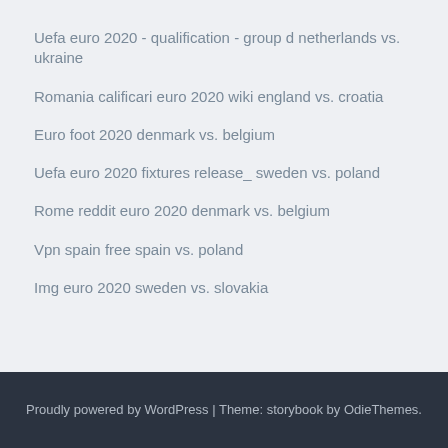Uefa euro 2020 - qualification - group d netherlands vs. ukraine
Romania calificari euro 2020 wiki england vs. croatia
Euro foot 2020 denmark vs. belgium
Uefa euro 2020 fixtures release_ sweden vs. poland
Rome reddit euro 2020 denmark vs. belgium
Vpn spain free spain vs. poland
Img euro 2020 sweden vs. slovakia
Proudly powered by WordPress | Theme: storybook by OdieThemes.